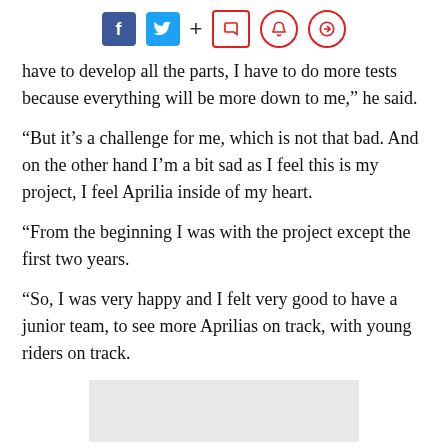Social sharing icons: Facebook, Twitter, +, bookmark, notification, comment
have to develop all the parts, I have to do more tests because everything will be more down to me,” he said.
“But it’s a challenge for me, which is not that bad. And on the other hand I’m a bit sad as I feel this is my project, I feel Aprilia inside of my heart.
“From the beginning I was with the project except the first two years.
“So, I was very happy and I felt very good to have a junior team, to see more Aprilias on track, with young riders on track.
[Figure (other): Gray placeholder advertisement box at the bottom of the page]